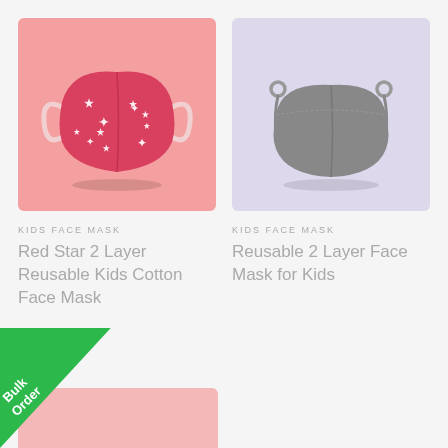[Figure (photo): Red star print face mask on pink background]
KIDS FACE MASK
Red Star 2 Layer Reusable Kids Cotton Face Mask
[Figure (photo): Grey face mask on lavender background]
KIDS FACE MASK
Reusable 2 Layer Face Mask for Kids
[Figure (illustration): Bulk Order green corner banner]
[Figure (photo): Bottom partial pink product image]